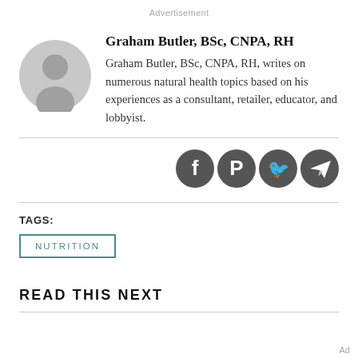Advertisement
[Figure (illustration): Gray circular avatar/placeholder profile image]
Graham Butler, BSc, CNPA, RH
Graham Butler, BSc, CNPA, RH, writes on numerous natural health topics based on his experiences as a consultant, retailer, educator, and lobbyist.
[Figure (infographic): Social media icons: Facebook, Pinterest, Twitter, Telegram — dark gray circles]
TAGS:
NUTRITION
READ THIS NEXT
Ad